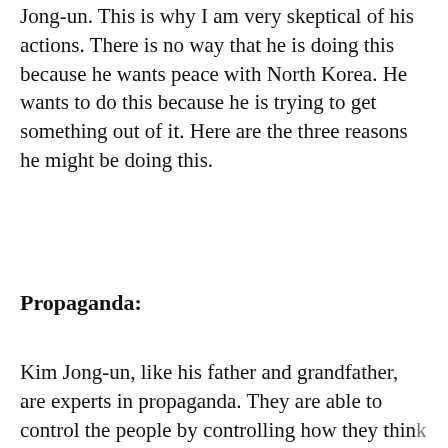Jong-un. This is why I am very skeptical of his actions. There is no way that he is doing this because he wants peace with North Korea. He wants to do this because he is trying to get something out of it. Here are the three reasons he might be doing this.
Propaganda:
Kim Jong-un, like his father and grandfather, are experts in propaganda. They are able to control the people by controlling how they thin...
[Figure (other): Promoted advertisement banner overlay with 'Promoted X' label]
[Figure (photo): Ad image: illustrated figure with play button overlay, for '1/2 Cup of This (Before Bed) Eats Your Belly Fat Like Crazy!']
1/2 Cup of This (Before Bed) Eats Your Belly Fat Like Crazy!
🔥 1,546
[Figure (photo): Ad image: photo of woman smiling for 'Nancy Pelosi Wants This Video Destroyed — Watch Now Before It's Banned']
Nancy Pelosi Wants This Video Destroyed — Watch Now Before It's Banned
🔥 163,384